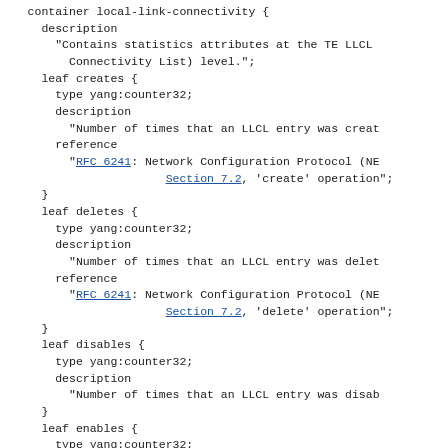YANG module code snippet showing container local-link-connectivity with leaf creates, leaf deletes, leaf disables, and leaf enables definitions including type, description, and reference fields.